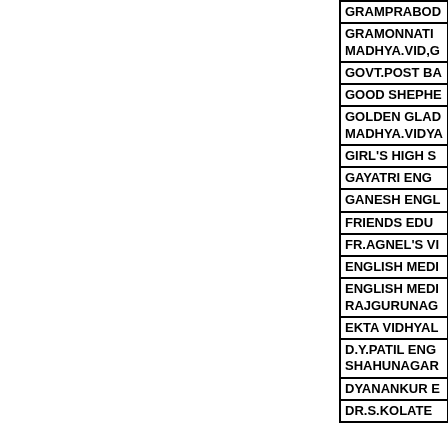| GRAMPRABOD... |
| GRAMONNATI...
MADHYA.VID,G... |
| GOVT.POST BA... |
| GOOD SHEPHE... |
| GOLDEN GLAD...
MADHYA.VIDYA... |
| GIRL'S HIGH S... |
| GAYATRI ENG ... |
| GANESH ENGL... |
| FRIENDS EDU ... |
| FR.AGNEL'S VI... |
| ENGLISH MEDI... |
| ENGLISH MEDI...
RAJGURUNAG... |
| EKTA VIDHYAL... |
| D.Y.PATIL ENG...
SHAHUNAGAR... |
| DYANANKUR E... |
| DR.S.KOLATE ... |